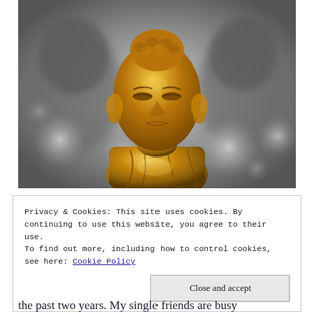[Figure (photo): A golden Buddha statue in the foreground, sharply focused with gold coloring, against a blurred black-and-white background showing other Buddha statues and bokeh light effects.]
Privacy & Cookies: This site uses cookies. By continuing to use this website, you agree to their use.
To find out more, including how to control cookies, see here: Cookie Policy
Close and accept
the past two years. My single friends are busy